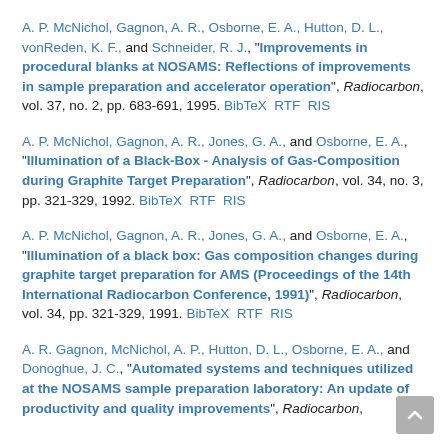A. P. McNichol, Gagnon, A. R., Osborne, E. A., Hutton, D. L., vonReden, K. F., and Schneider, R. J., "Improvements in procedural blanks at NOSAMS: Reflections of improvements in sample preparation and accelerator operation", Radiocarbon, vol. 37, no. 2, pp. 683-691, 1995. BibTeX  RTF  RIS
A. P. McNichol, Gagnon, A. R., Jones, G. A., and Osborne, E. A., "Illumination of a Black-Box - Analysis of Gas-Composition during Graphite Target Preparation", Radiocarbon, vol. 34, no. 3, pp. 321-329, 1992. BibTeX  RTF  RIS
A. P. McNichol, Gagnon, A. R., Jones, G. A., and Osborne, E. A., "Illumination of a black box: Gas composition changes during graphite target preparation for AMS (Proceedings of the 14th International Radiocarbon Conference, 1991)", Radiocarbon, vol. 34, pp. 321-329, 1991. BibTeX  RTF  RIS
A. R. Gagnon, McNichol, A. P., Hutton, D. L., Osborne, E. A., and Donoghue, J. C., "Automated systems and techniques utilized at the NOSAMS sample preparation laboratory: An update of productivity and quality improvements", Radiocarbon, ...